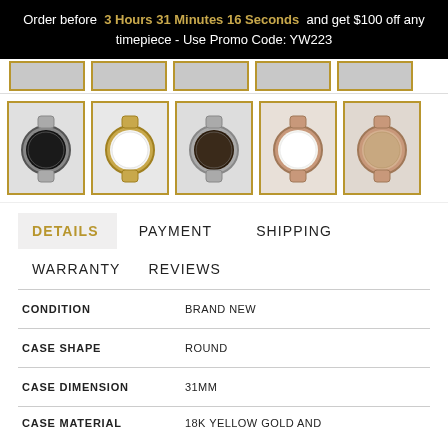Order before 3 Hours 31 Minutes 16 Seconds and get $100 off any timepiece - Use Promo Code: YW223
[Figure (photo): Row of five watch thumbnails with gold borders, showing various Rolex watches]
DETAILS  PAYMENT  SHIPPING  WARRANTY  REVIEWS
|  |  |
| --- | --- |
| CONDITION | BRAND NEW |
| CASE SHAPE | ROUND |
| CASE DIMENSION | 31MM |
| CASE MATERIAL | 18K YELLOW GOLD AND |